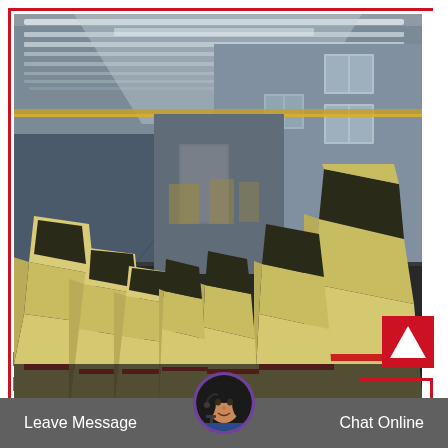[Figure (photo): Interior of a large industrial manufacturing warehouse with yellow/cream colored impact crusher machines lined up on both sides of a wide central aisle. The building has a high metal roof with skylights and windows on the far wall.]
Distributor Of Crushers In Russia
Leave Message
Chat Online